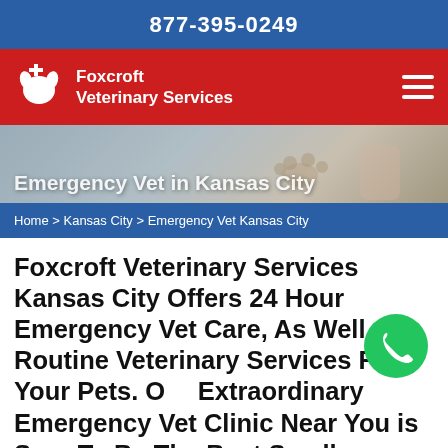877-395-0249
[Figure (logo): Foxcroft Veterinary Services logo with dog/cat silhouette and plus sign on red background with hamburger menu]
[Figure (photo): Emergency Vet in Kansas City hero image showing a dog paw being examined]
Home > Kansas City > Emergency Vet Kansas City
Foxcroft Veterinary Services Kansas City Offers 24 Hour Emergency Vet Care, As Well As Routine Veterinary Services For Your Pets. Our Extraordinary Emergency Vet Clinic Near You is Sure To Be The Best Small Animal, Large Animal, And Urgent Vet Clinic in Kansas City To